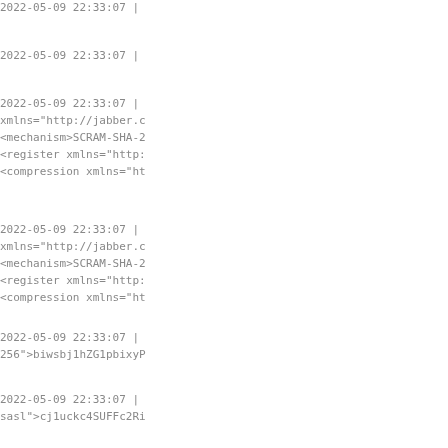2022-05-09 22:33:07 |
2022-05-09 22:33:07 |
2022-05-09 22:33:07 |
xmlns="http://jabber.c
<mechanism>SCRAM-SHA-2
<register xmlns="http:
<compression xmlns="ht
2022-05-09 22:33:07 |
xmlns="http://jabber.c
<mechanism>SCRAM-SHA-2
<register xmlns="http:
<compression xmlns="ht
2022-05-09 22:33:07 |
256">biwsbj1hZG1pbixyP
2022-05-09 22:33:07 |
256">biwsbj1hZG1pbixyP
2022-05-09 22:33:07 |
sasl">cj1uckc4SUFFc2Ri